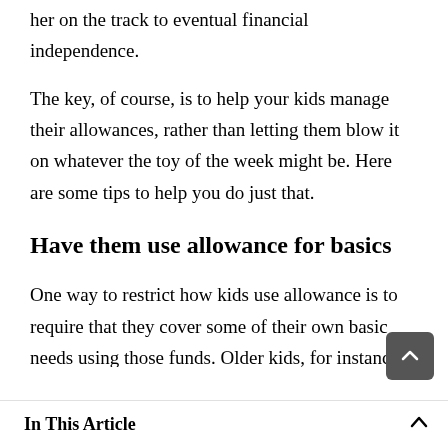get a job, an allowance might be the best way to start her on the track to eventual financial independence.
The key, of course, is to help your kids manage their allowances, rather than letting them blow it on whatever the toy of the week might be. Here are some tips to help you do just that.
Have them use allowance for basics
One way to restrict how kids use allowance is to require that they cover some of their own basic needs using those funds. Older kids, for instance, can purchase their own school supplies and...
In This Article